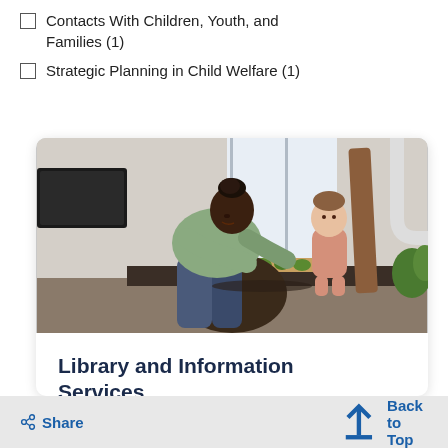Contacts With Children, Youth, and Families (1)
Strategic Planning in Child Welfare (1)
[Figure (photo): A woman leaning over a kitchen counter preparing food while a toddler stands nearby watching]
Library and Information Services
nter for States provides assistance and responds to information
< Share   Back to Top